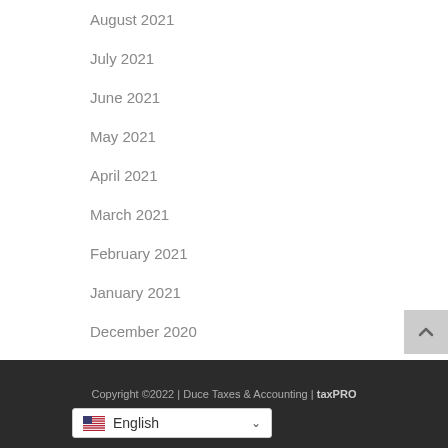August 2021
July 2021
June 2021
May 2021
April 2021
March 2021
February 2021
January 2021
December 2020
November 2020
Copyright ©2022 | Duce Taxes & Accounting | taxPRO Websites